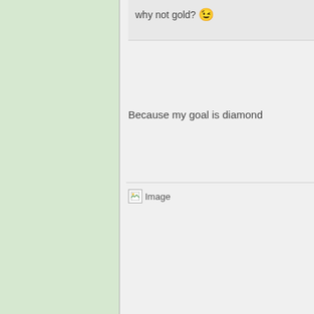why not gold? 😉
Because my goal is diamond
[Figure (other): Broken image placeholder with text 'Image']